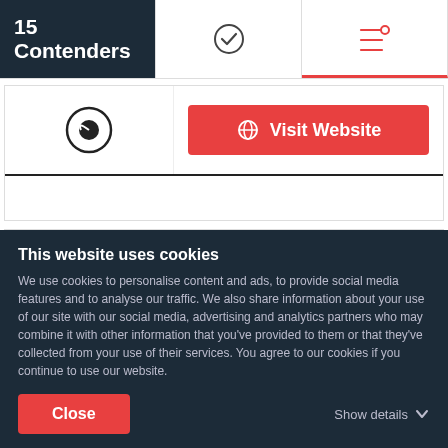15 Contenders
[Figure (screenshot): Checkmark icon in top navigation bar]
[Figure (screenshot): Filter/settings icon in top navigation bar, highlighted with red underline]
[Figure (logo): Circular C icon (Clutch logo style)]
[Figure (screenshot): Visit Website button in red]
[Figure (logo): Vivial logo - stylized text with green underline accent]
Vivial
Online Marketing Experts
[Figure (screenshot): Price tag icon]
Undisclosed
[Figure (screenshot): Clock/time icon]
Undisclosed
This website uses cookies
We use cookies to personalise content and ads, to provide social media features and to analyse our traffic. We also share information about your use of our site with our social media, advertising and analytics partners who may combine it with other information that you've provided to them or that they've collected from your use of their services. You agree to our cookies if you continue to use our website.
Close
Show details